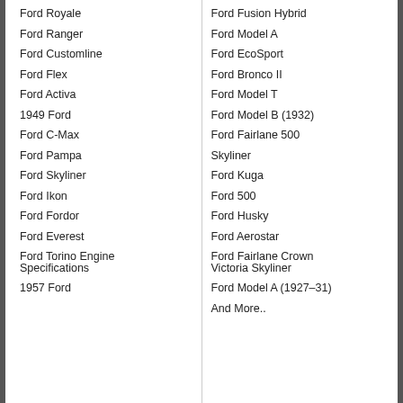Ford Royale
Ford Ranger
Ford Customline
Ford Flex
Ford Activa
1949 Ford
Ford C-Max
Ford Pampa
Ford Skyliner
Ford Ikon
Ford Fordor
Ford Everest
Ford Torino Engine Specifications
1957 Ford
Ford Fusion Hybrid
Ford Model A
Ford EcoSport
Ford Bronco II
Ford Model T
Ford Model B (1932)
Ford Fairlane 500
Skyliner
Ford Kuga
Ford 500
Ford Husky
Ford Aerostar
Ford Fairlane Crown Victoria Skyliner
Ford Model A (1927–31)
And More..